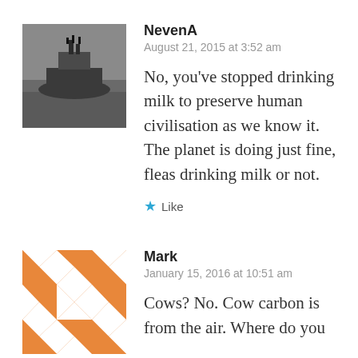[Figure (photo): Black and white photo avatar of NevenA showing a ship]
NevenA
August 21, 2015 at 3:52 am
No, you've stopped drinking milk to preserve human civilisation as we know it. The planet is doing just fine, fleas drinking milk or not.
Like
[Figure (illustration): Orange and white geometric pattern avatar for Mark]
Mark
January 15, 2016 at 10:51 am
Cows? No. Cow carbon is from the air. Where do you